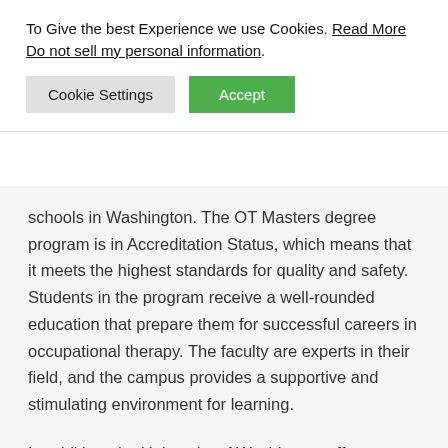To Give the best Experience we use Cookies. Read More Do not sell my personal information.
[Figure (screenshot): Cookie consent banner with 'Cookie Settings' (grey button) and 'Accept' (green button)]
schools in Washington. The OT Masters degree program is in Accreditation Status, which means that it meets the highest standards for quality and safety. Students in the program receive a well-rounded education that prepare them for successful careers in occupational therapy. The faculty are experts in their field, and the campus provides a supportive and stimulating environment for learning.
In addition, the University of Washington offers a